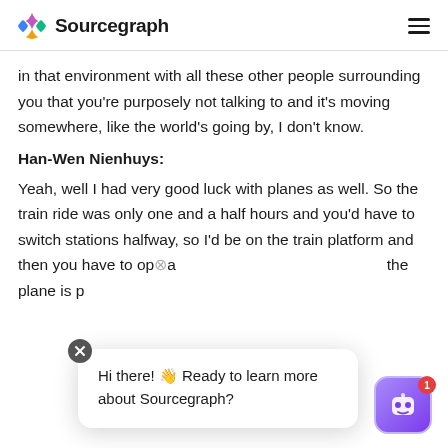Sourcegraph
in that environment with all these other people surrounding you that you're purposely not talking to and it's moving somewhere, like the world's going by, I don't know.
Han-Wen Nienhuys:
Yeah, well I had very good luck with planes as well. So the train ride was only one and a half hours and you'd have to switch stations halfway, so I'd be on the train platform and then you have to op[en] a[pp]... the plane is p[robably]...
Hi there! 👋 Ready to learn more about Sourcegraph?